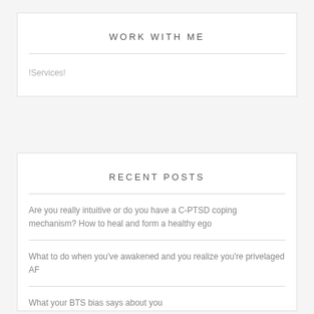WORK WITH ME
!Services!
RECENT POSTS
Are you really intuitive or do you have a C-PTSD coping mechanism? How to heal and form a healthy ego
What to do when you've awakened and you realize you're privelaged AF
What your BTS bias says about you